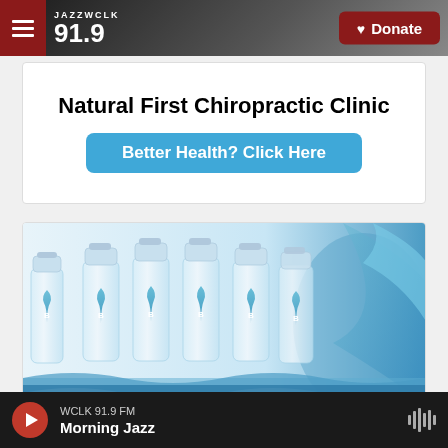JAZZ WCLK 91.9 | Donate
Natural First Chiropractic Clinic
Better Health? Click Here
[Figure (photo): Advertisement image showing multiple water bottles with blue drop logo labeled 'B' with water splash, text reads 'BEAUTY WATER' repeated]
WCLK 91.9 FM  Morning Jazz